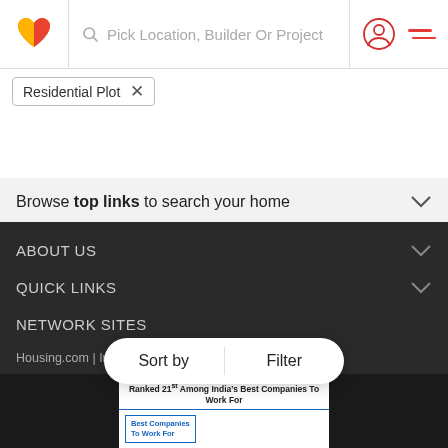[Figure (screenshot): Makaan.com website header with logo, search bar saying 'Pick Location, Builder Or Project', user icon, and hamburger menu]
Residential Plot ×
Browse top links to search your home
ABOUT US
QUICK LINKS
NETWORK SITES
Housing.com | Indianrealestateforum.com | Proptiger.com | Realestate.com.au | Mansionglobal.com |
EMAIL US AT
customer.service@makaan.com
[Figure (screenshot): Sort by and Filter buttons floating at the bottom of the page]
[Figure (screenshot): Award banner: Ranked 21st Among India's Best Companies To Work For, showing Best Companies To Work For badge]